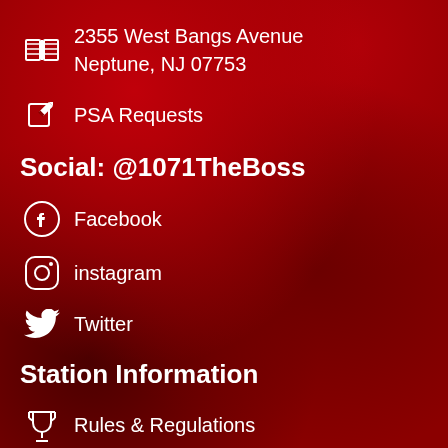2355 West Bangs Avenue
Neptune, NJ 07753
PSA Requests
Social: @1071TheBoss
Facebook
instagram
Twitter
Station Information
Rules & Regulations
Privacy Policy